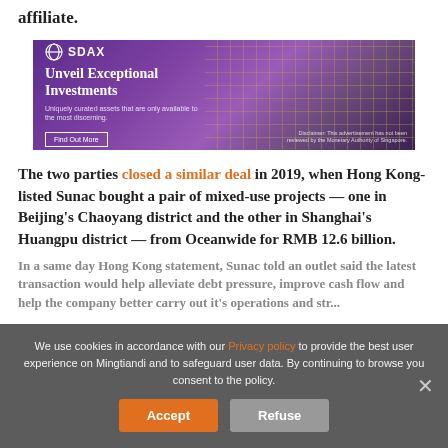affiliate.
[Figure (other): SDAX advertisement banner: 'Unveil Exceptional Investments. Uniquely curated assets that are only available to the most discerning. Find Out More.' Disclaimer: This advertisement has not been reviewed by the Monetary Authority of Singapore.]
The two parties closed a similar deal in 2019, when Hong Kong-listed Sunac bought a pair of mixed-use projects — one in Beijing's Chaoyang district and the other in Shanghai's Huangpu district — from Oceanwide for RMB 12.6 billion.
In a same day Hong Kong statement, Sunac told an outlet said the latest transaction would help alleviate debt pressure, improve cash flow and help the company better carry out its operations...
We use cookies in accordance with our Privacy policy to provide the best user experience on Mingtiandi and to safeguard user data. By continuing to browse you consent to the policy.